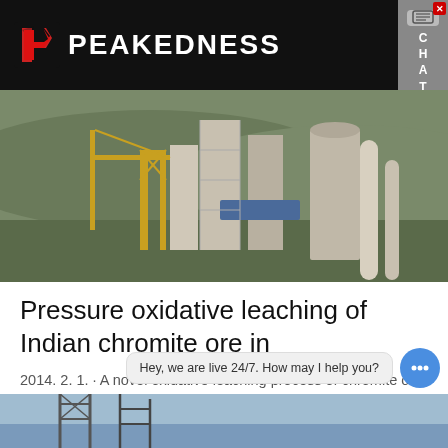PEAKEDNESS
[Figure (photo): Industrial plant with yellow crane and large concrete/metal structures, storage silos, and pipework against a hillside backdrop]
Pressure oxidative leaching of Indian chromite ore in
2014. 2. 1. · A novel oxidative leaching process of chromite ore with concentrated NaOH aqueous solution and elevated…
Learn More
Hey, we are live 24/7. How may I help you?
[Figure (photo): Bottom strip showing partial view of industrial structure against blue sky]